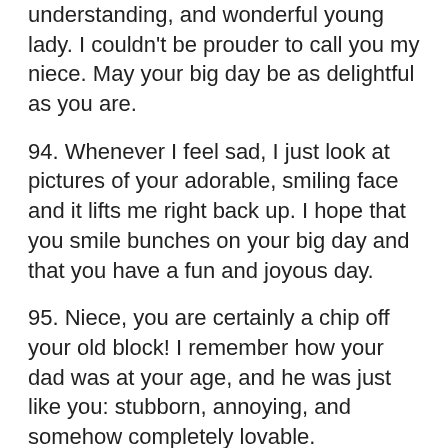understanding, and wonderful young lady. I couldn't be prouder to call you my niece. May your big day be as delightful as you are.
94. Whenever I feel sad, I just look at pictures of your adorable, smiling face and it lifts me right back up. I hope that you smile bunches on your big day and that you have a fun and joyous day.
95. Niece, you are certainly a chip off your old block! I remember how your dad was at your age, and he was just like you: stubborn, annoying, and somehow completely lovable.
96. Niece, may your future be just as bright as you are. Your smile brings a twinkle to my eye and happiness to my heart. Happy birthday to my shining example of the perfect niece.
97. Nothing excites me more than the fact that I get to